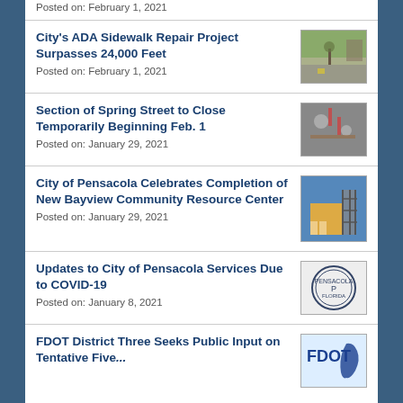Posted on: February 1, 2021
City's ADA Sidewalk Repair Project Surpasses 24,000 Feet
Posted on: February 1, 2021
Section of Spring Street to Close Temporarily Beginning Feb. 1
Posted on: January 29, 2021
City of Pensacola Celebrates Completion of New Bayview Community Resource Center
Posted on: January 29, 2021
Updates to City of Pensacola Services Due to COVID-19
Posted on: January 8, 2021
FDOT District Three Seeks Public Input on Tentative Five...